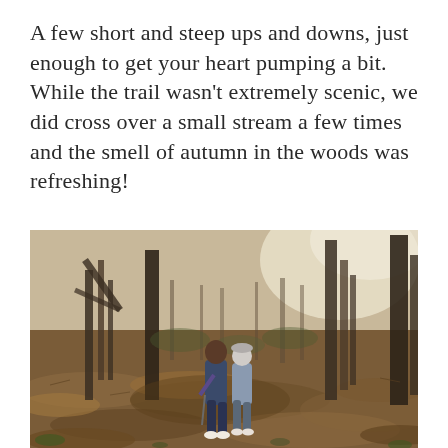A few short and steep ups and downs, just enough to get your heart pumping a bit.  While the trail wasn't extremely scenic, we did cross over a small stream a few times and the smell of autumn in the woods was refreshing!
[Figure (photo): Two hikers walking through a leafy autumn woodland trail surrounded by bare trees and a forest floor covered in brown leaves.]